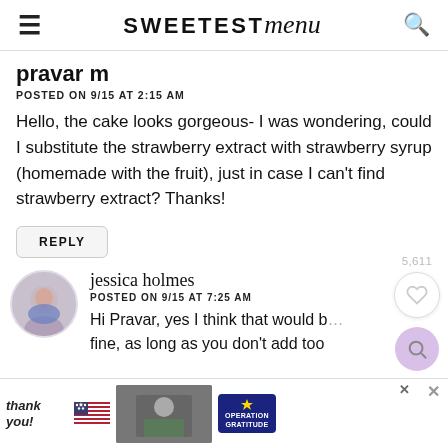SWEETEST menu
pravar m
POSTED ON 9/15 AT 2:15 AM
Hello, the cake looks gorgeous- I was wondering, could I substitute the strawberry extract with strawberry syrup (homemade with the fruit), just in case I can't find strawberry extract? Thanks!
REPLY
jessica holmes
POSTED ON 9/15 AT 7:25 AM
Hi Pravar, yes I think that would be fine, as long as you don't add too
[Figure (screenshot): Advertisement banner: 'Thank you!' script text with US flag graphic, military photo, and Operation Gratitude logo]